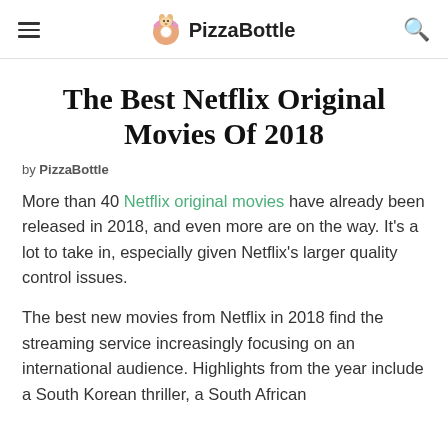PizzaBottle
The Best Netflix Original Movies Of 2018
by PizzaBottle
More than 40 Netflix original movies have already been released in 2018, and even more are on the way. It's a lot to take in, especially given Netflix's larger quality control issues.
The best new movies from Netflix in 2018 find the streaming service increasingly focusing on an international audience. Highlights from the year include a South Korean thriller, a South African